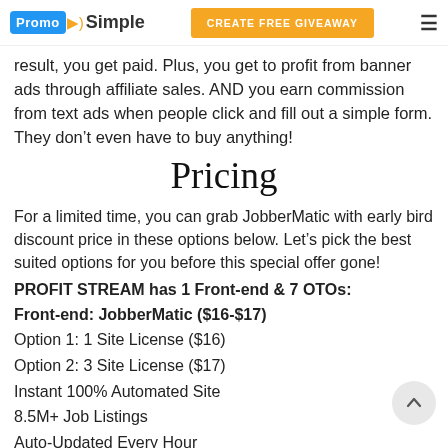PromoSimple | CREATE FREE GIVEAWAY
result, you get paid. Plus, you get to profit from banner ads through affiliate sales. AND you earn commission from text ads when people click and fill out a simple form. They don’t even have to buy anything!
Pricing
For a limited time, you can grab JobberMatic with early bird discount price in these options below. Let’s pick the best suited options for you before this special offer gone!
PROFIT STREAM has 1 Front-end & 7 OTOs:
Front-end: JobberMatic ($16-$17)
Option 1: 1 Site License ($16)
Option 2: 3 Site License ($17)
Instant 100% Automated Site
8.5M+ Job Listings
Auto-Updated Every Hour
THREE Affiliate Income Streams